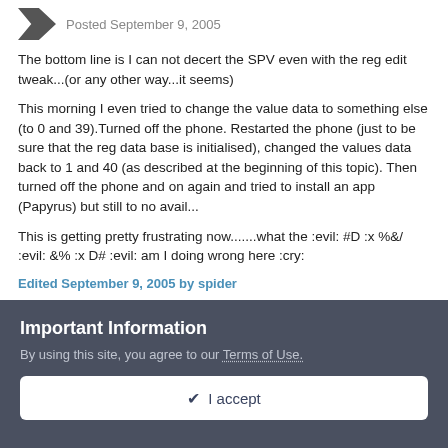Posted September 9, 2005
The bottom line is I can not decert the SPV even with the reg edit tweak...(or any other way...it seems)
This morning I even tried to change the value data to something else (to 0 and 39).Turned off the phone. Restarted the phone (just to be sure that the reg data base is initialised), changed the values data back to 1 and 40 (as described at the beginning of this topic). Then turned off the phone and on again and tried to install an app (Papyrus) but still to no avail...
This is getting pretty frustrating now.......what the :evil: #D :x %&/ :evil: &% :x D# :evil: am I doing wrong here :cry:
Edited September 9, 2005 by spider
Important Information
By using this site, you agree to our Terms of Use.
✔ I accept